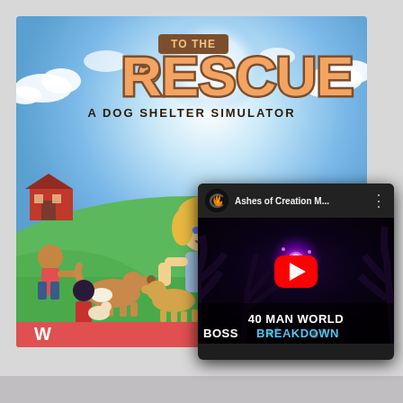[Figure (screenshot): To The Rescue: A Dog Shelter Simulator game artwork showing cartoon characters with dogs on green hills, with blue sky background. At bottom, a YouTube video card overlay showing 'Ashes of Creation M...' channel with '40 MAN WORLD BOSS BREAKDOWN' thumbnail.]